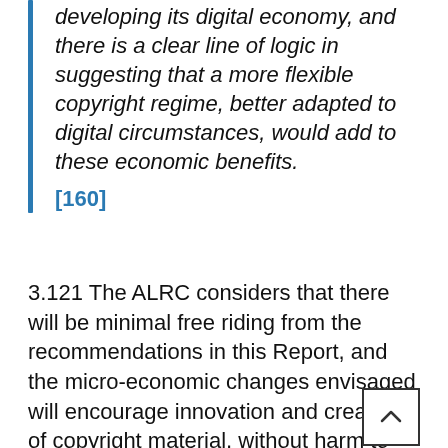developing its digital economy, and there is a clear line of logic in suggesting that a more flexible copyright regime, better adapted to digital circumstances, would add to these economic benefits. [160]
3.121 The ALRC considers that there will be minimal free riding from the recommendations in this Report, and the micro-economic changes envisaged will encourage innovation and creation of copyright material, without harm to